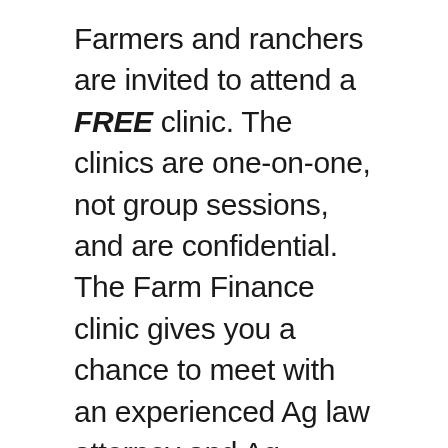Farmers and ranchers are invited to attend a FREE clinic.  The clinics are one-on-one, not group sessions, and are confidential.  The Farm Finance clinic gives you a chance to meet with an experienced Ag law attorney and Ag financial counselor.  These clinic staff specialize in legal and financial issues related to farming and ranching, including financial planning, estate and transition planning, farm loan programs, debtor/creditor law, water rights, and other relevant matters.  Here is an opportunity to obtain an experienced outside opinion on issues that may be affecting your farm or ranch.